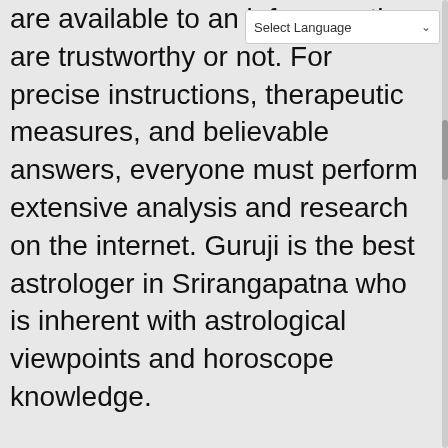are available to an infere... they are trustworthy or not. For precise instructions, therapeutic measures, and believable answers, everyone must perform extensive analysis and research on the internet. Guruji is the best astrologer in Srirangapatna who is inherent with astrological viewpoints and horoscope knowledge.
He has an inborn talent of getting an excellent insight into commitment and devotion within the basics and first ...